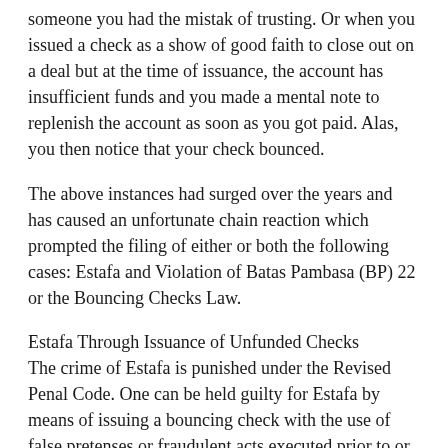someone you had the mistak of trusting. Or when you issued a check as a show of good faith to close out on a deal but at the time of issuance, the account has insufficient funds and you made a mental note to replenish the account as soon as you got paid. Alas, you then notice that your check bounced.
The above instances had surged over the years and has caused an unfortunate chain reaction which prompted the filing of either or both the following cases: Estafa and Violation of Batas Pambasa (BP) 22 or the Bouncing Checks Law.
Estafa Through Issuance of Unfunded Checks
The crime of Estafa is punished under the Revised Penal Code. One can be held guilty for Estafa by means of issuing a bouncing check with the use of false pretenses or fraudulent acts executed prior to or simultaneously with the commission of the fraud:
"By postdating a check, or issuing a check in payment of...